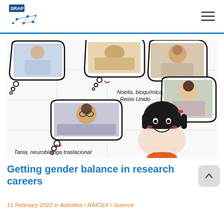SRAP [logo with network diagram]
[Figure (illustration): Illustrated image showing multiple women scientists in thought-bubble frames around a cartoon girl character. Labels: 'Noelia, bioquímica, Reino Unido' and 'Tania, neurobióloga traslacional'. Photos of real women researchers embedded in thought bubbles.]
Getting gender balance in research careers
11 February 2022  in Activities / RAICEX / Science